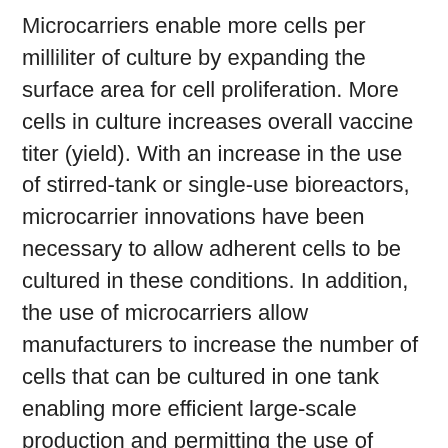Microcarriers enable more cells per milliliter of culture by expanding the surface area for cell proliferation. More cells in culture increases overall vaccine titer (yield). With an increase in the use of stirred-tank or single-use bioreactors, microcarrier innovations have been necessary to allow adherent cells to be cultured in these conditions. In addition, the use of microcarriers allow manufacturers to increase the number of cells that can be cultured in one tank enabling more efficient large-scale production and permitting the use of greater than 1,000 liter bioreactors.
Last week at the World Vaccine Congress in Washington DC, Dr. Steve Pettit, Director, Cell Culture Product Development, InVitria, presented a poster that addresses both of these areas of innovation. The poster titled “Robust, Defined,